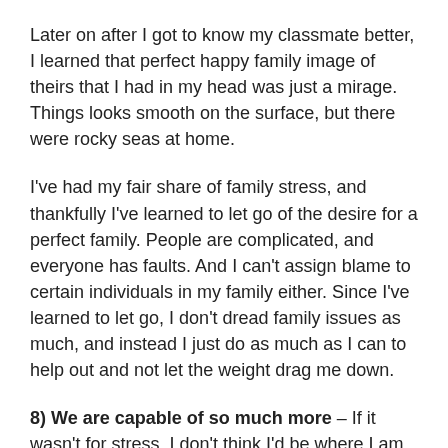Later on after I got to know my classmate better, I learned that perfect happy family image of theirs that I had in my head was just a mirage. Things looks smooth on the surface, but there were rocky seas at home.
I've had my fair share of family stress, and thankfully I've learned to let go of the desire for a perfect family. People are complicated, and everyone has faults. And I can't assign blame to certain individuals in my family either. Since I've learned to let go, I don't dread family issues as much, and instead I just do as much as I can to help out and not let the weight drag me down.
8) We are capable of so much more – If it wasn't for stress, I don't think I'd be where I am today. Stress has had a toll on my body for sure, but it's also pushed me to overcome so many obstacles I never would have